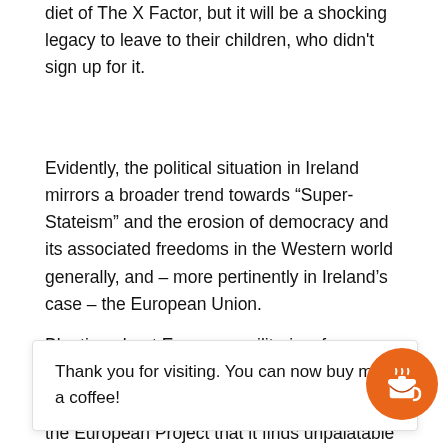diet of The X Factor, but it will be a shocking legacy to leave to their children, who didn't sign up for it.
Evidently, the political situation in Ireland mirrors a broader trend towards “Super-Stateism” and the erosion of democracy and its associated freedoms in the Western world generally, and – more pertinently in Ireland’s case – the European Union.
Bleating about European militarism from some
Thank you for visiting. You can now buy me a coffee!
the European Project that it finds unpalatable